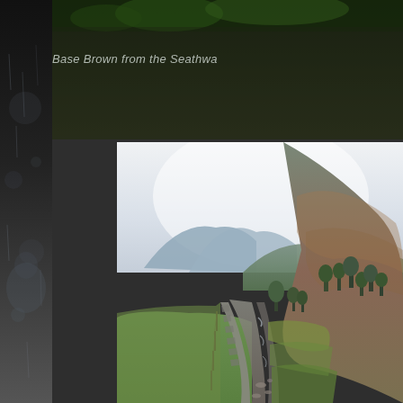Base Brown from the Seathwa
[Figure (photo): Landscape photograph showing a mountain valley scene. In the foreground, a rocky path/stream runs along a dry-stone wall with green fields to the left. Scattered trees dot the middle ground. In the background, rounded hills and mountains recede into a pale hazy sky. The hillside to the right is covered in bracken and moorland vegetation.]